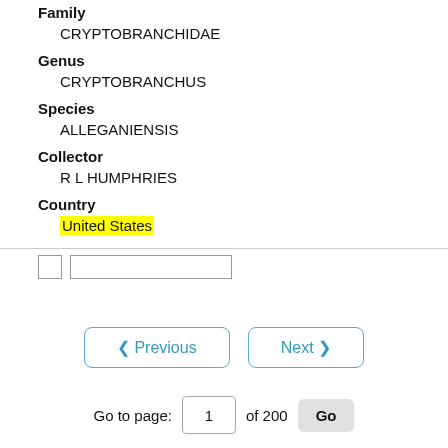Family
CRYPTOBRANCHIDAE
Genus
CRYPTOBRANCHUS
Species
ALLEGANIENSIS
Collector
R L HUMPHRIES
Country
United States
< Previous   Next >
Go to page: 1 of 200 Go